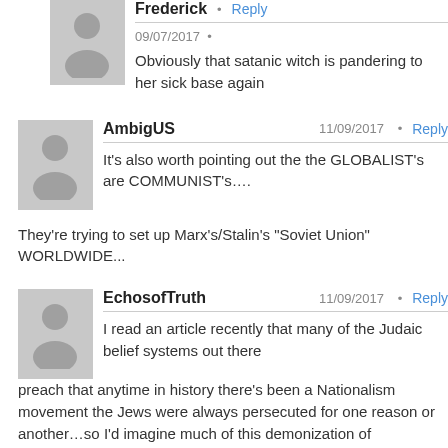Frederick · Reply
09/07/2017 •
Obviously that satanic witch is pandering to her sick base again
AmbigUS  11/09/2017 · Reply
It's also worth pointing out the the GLOBALIST's are COMMUNIST's.... They're trying to set up Marx's/Stalin's "Soviet Union" WORLDWIDE...
EchosofTruth  11/09/2017 · Reply
I read an article recently that many of the Judaic belief systems out there preach that anytime in history there's been a Nationalism movement the Jews were always persecuted for one reason or another…so I'd imagine much of this demonization of Nationalism seen